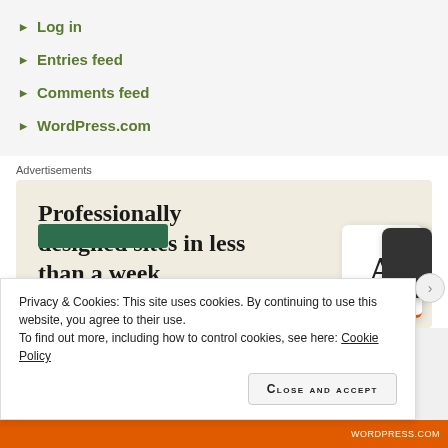Log in
Entries feed
Comments feed
WordPress.com
Advertisements
[Figure (illustration): Advertisement banner with cream/beige background showing headline text 'Professionally designed sites in less than a week' with a green CTA button and a stylized letter A typography image on the right]
Privacy & Cookies: This site uses cookies. By continuing to use this website, you agree to their use.
To find out more, including how to control cookies, see here: Cookie Policy
Close and accept